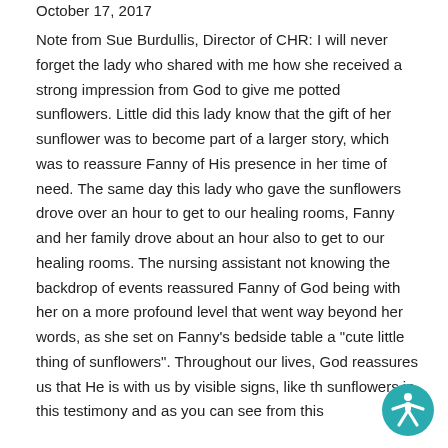October 17, 2017
Note from Sue Burdullis, Director of CHR: I will never forget the lady who shared with me how she received a strong impression from God to give me potted sunflowers. Little did this lady know that the gift of her sunflower was to become part of a larger story, which was to reassure Fanny of His presence in her time of need. The same day this lady who gave the sunflowers drove over an hour to get to our healing rooms, Fanny and her family drove about an hour also to get to our healing rooms. The nursing assistant not knowing the backdrop of events reassured Fanny of God being with her on a more profound level that went way beyond her words, as she set on Fanny’s bedside table a “cute little thing of sunflowers”. Throughout our lives, God reassures us that He is with us by visible signs, like the sunflowers in this testimony and as you can see from this
[Figure (illustration): Circular teal accessibility icon showing a stylized human figure with arms outstretched, in the bottom-right corner of the page]